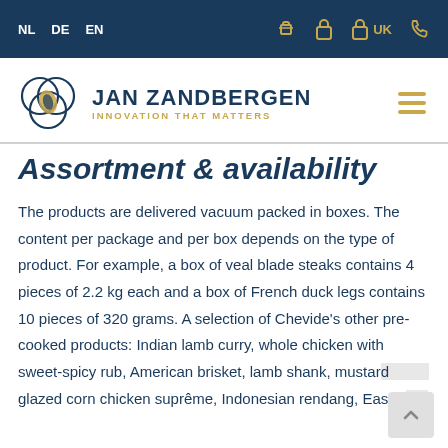NL  DE  EN  UK
[Figure (logo): Jan Zandbergen logo — three overlapping circles with a diamond/eye shape, and the text 'JAN ZANDBERGEN' in dark navy bold with tagline 'INNOVATION THAT MATTERS' in gold]
Assortment & availability
The products are delivered vacuum packed in boxes. The content per package and per box depends on the type of product. For example, a box of veal blade steaks contains 4 pieces of 2.2 kg each and a box of French duck legs contains 10 pieces of 320 grams. A selection of Chevide's other pre-cooked products: Indian lamb curry, whole chicken with sweet-spicy rub, American brisket, lamb shank, mustard glazed corn chicken suprême, Indonesian rendang, Eastern